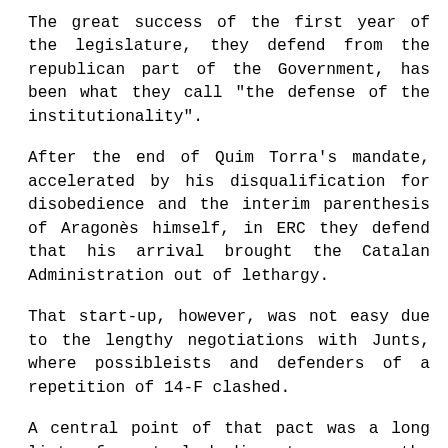The great success of the first year of the legislature, they defend from the republican part of the Government, has been what they call "the defense of the institutionality".
After the end of Quim Torra's mandate, accelerated by his disqualification for disobedience and the interim parenthesis of Aragonès himself, in ERC they defend that his arrival brought the Catalan Administration out of lethargy.
That start-up, however, was not easy due to the lengthy negotiations with Junts, where possibleists and defenders of a repetition of 14-F clashed.
A central point of that pact was a long list of control bodies to ensure the fluidity of the relationship between partners and that, for example, now raises doubts in the face of